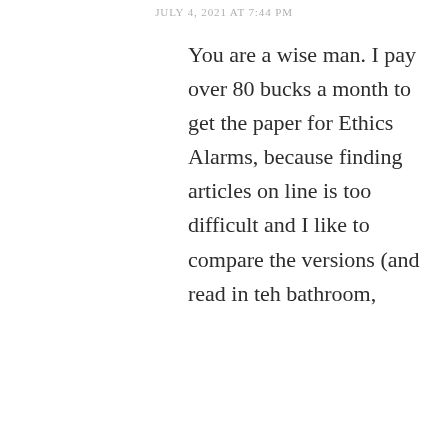JULY 4, 2021 AT 7:44 PM
You are a wise man. I pay over 80 bucks a month to get the paper for Ethics Alarms, because finding articles on line is too difficult and I like to compare the versions (and read in teh bathroom,